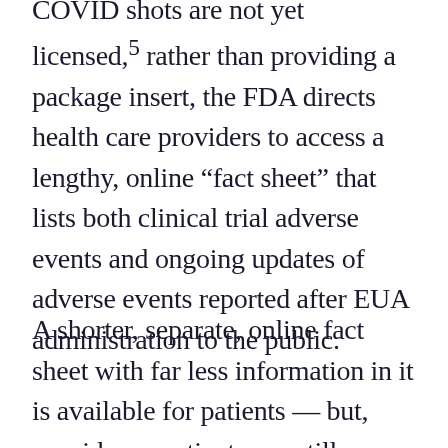COVID shots are not yet licensed,5 rather than providing a package insert, the FDA directs health care providers to access a lengthy, online “fact sheet” that lists both clinical trial adverse events and ongoing updates of adverse events reported after EUA administration to the public.
A shorter, separate, online fact sheet with far less information in it is available for patients — but, provider or patient, you still